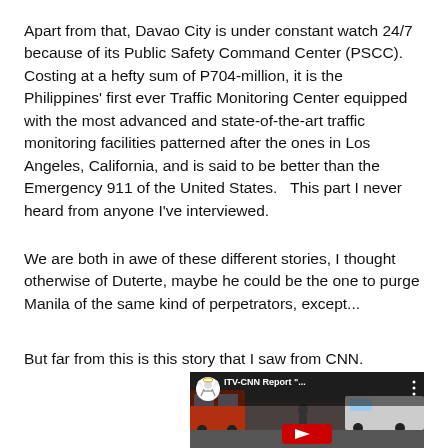Apart from that, Davao City is under constant watch 24/7 because of its Public Safety Command Center (PSCC). Costing at a hefty sum of P704-million, it is the Philippines' first ever Traffic Monitoring Center equipped with the most advanced and state-of-the-art traffic monitoring facilities patterned after the ones in Los Angeles, California, and is said to be better than the Emergency 911 of the United States.   This part I never heard from anyone I've interviewed.
We are both in awe of these different stories, I thought otherwise of Duterte, maybe he could be the one to purge Manila of the same kind of perpetrators, except...
But far from this is this story that I saw from CNN.
[Figure (screenshot): YouTube video thumbnail showing ITV-CNN Report with a street scene in the background, a channel icon of a figure/angel, and a red play button at the bottom.]